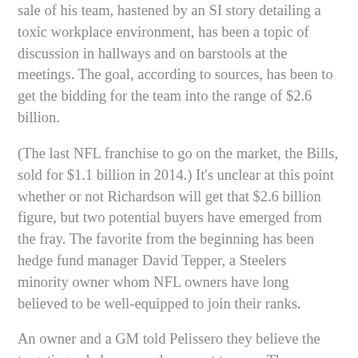sale of his team, hastened by an SI story detailing a toxic workplace environment, has been a topic of discussion in hallways and on barstools at the meetings. The goal, according to sources, has been to get the bidding for the team into the range of $2.6 billion.
(The last NFL franchise to go on the market, the Bills, sold for $1.1 billion in 2014.) It's unclear at this point whether or not Richardson will get that $2.6 billion figure, but two potential buyers have emerged from the fray. The favorite from the beginning has been hedge fund manager David Tepper, a Steelers minority owner whom NFL owners have long believed to be well-equipped to join their ranks.
An owner and a GM told Pelissero they believe the targeting rule has enough support to pass. The committee is quickly putting the proposition together in hopes for a possible vote Tuesday, but work needs to be done on the language of the rule and enforcement.